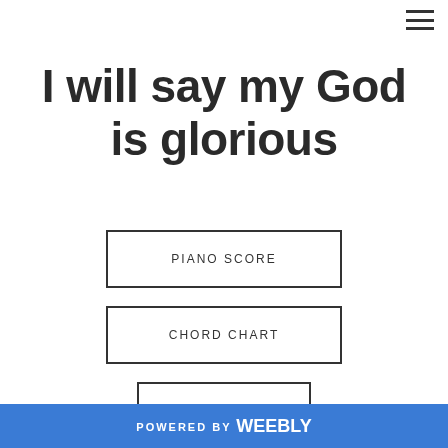[Figure (other): Hamburger menu icon with three horizontal lines in top right corner]
I will say my God is glorious
PIANO SCORE
CHORD CHART
LISTEN
POWERED BY weebly